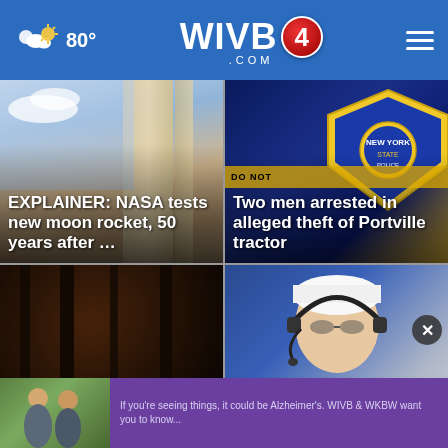WIVB4.com — 80°
[Figure (screenshot): News card: NASA moon rocket photo with overlay text 'EXPLAINER: NASA tests new moon rocket, 50 years after …']
[Figure (screenshot): News card: NY police badge photo with overlay text 'Two men arrested in alleged theft of Portville tractor']
[Figure (screenshot): News card: dark forest scene photo]
[Figure (screenshot): News card: Buffalo Bills coach Sean with headset, partial text 'Bills coach Sean']
[Figure (screenshot): Bottom ad bar with two people image and purple background text promoting WIVB]